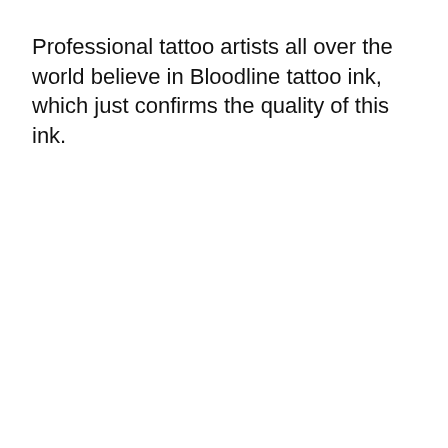Professional tattoo artists all over the world believe in Bloodline tattoo ink, which just confirms the quality of this ink.